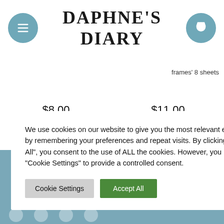DAPHNE'S DIARY
frames' 8 sheets
$8.00
ADD TO BASKET
$11.00
ADD TO BASKET
We use cookies on our website to give you the most relevant experience by remembering your preferences and repeat visits. By clicking "Accept All", you consent to the use of ALL the cookies. However, you may visit "Cookie Settings" to provide a controlled consent.
Cookie Settings
Accept All
ou will get some you might om my diary.